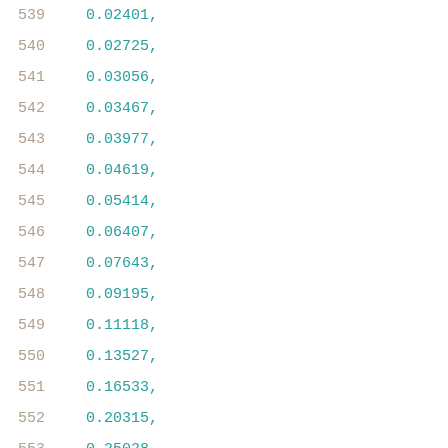539  0.02401,
540  0.02725,
541  0.03056,
542  0.03467,
543  0.03977,
544  0.04619,
545  0.05414,
546  0.06407,
547  0.07643,
548  0.09195,
549  0.11118,
550  0.13527,
551  0.16533,
552  0.20315,
553  0.25028,
554  0.30929,
555  0.38292
556  ],
557  [
558  0.01405,
559  0.02724,
560  0.03052,